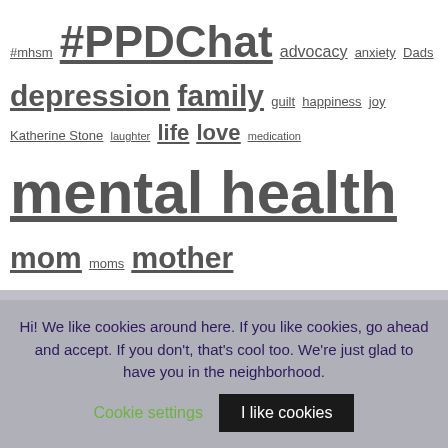[Figure (other): Tag cloud for a postpartum depression / mental health blog, featuring terms in various font sizes: #mhsm, #PPDChat, advocacy, anxiety, Dads, depression, family, guilt, happiness, joy, Katherine Stone, laughter, life, love, medication, mental health, mom, moms, mother, motherhood, My 500 Words, parenting, peer support, Perinatal Mood & Anxiety Disorders, Perinatal Mood Disorders, postpartum depression, Postpartum Mood Disorder, Postpartum Mood Disorders, Postpartum Progress, PPD, prayer, pregnancy, recovery, research, self-care, social media, stigma, suicide, support, survivor, twitter, Twitter Chat, Valentine's Day, Whatever Wednesday, writing]
Hi! We like cookies around here. If you like cookies, go ahead and accept. If you don't, that's cool too. We're just glad to have you in the neighborhood.
Cookie settings   I like cookies